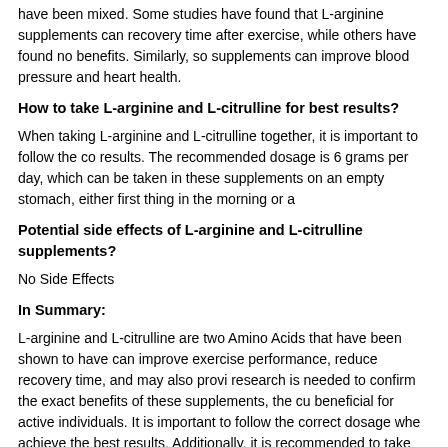have been mixed. Some studies have found that L-arginine supplements can recovery time after exercise, while others have found no benefits. Similarly, so supplements can improve blood pressure and heart health.
How to take L-arginine and L-citrulline for best results?
When taking L-arginine and L-citrulline together, it is important to follow the co results. The recommended dosage is 6 grams per day, which can be taken in these supplements on an empty stomach, either first thing in the morning or a
Potential side effects of L-arginine and L-citrulline supplements?
No Side Effects
In Summary:
L-arginine and L-citrulline are two Amino Acids that have been shown to have can improve exercise performance, reduce recovery time, and may also provi research is needed to confirm the exact benefits of these supplements, the cu beneficial for active individuals. It is important to follow the correct dosage whe achieve the best results. Additionally, it is recommended to take them on an e are no known side effects associated with taking L-arginine and L-citrulline su
(https://vitanetonline.com:443/forums/Index.cfm?CFApp=1&Message_ID=642